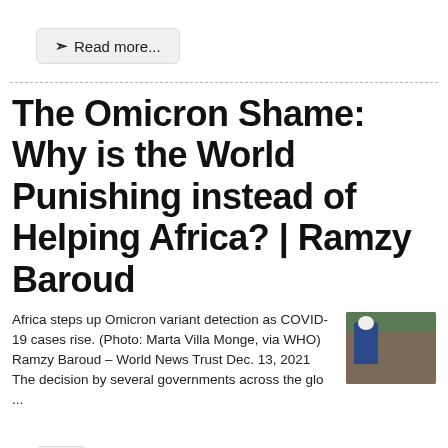Read more...
The Omicron Shame: Why is the World Punishing instead of Helping Africa? | Ramzy Baroud
Africa steps up Omicron variant detection as COVID-19 cases rise. (Photo: Marta Villa Monge, via WHO) Ramzy Baroud – World News Trust Dec. 13, 2021 The decision by several governments across the glo ...
[Figure (photo): Photo of a person in blue clothing near a wooden structure, related to COVID-19 coverage in Africa]
Read more...